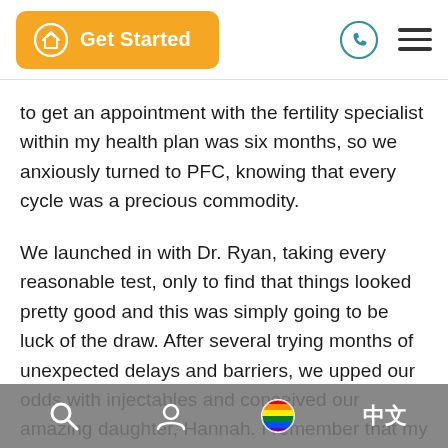[Figure (screenshot): Mobile app navigation bar with orange 'Get Started' button with a hat logo icon on the left, and phone icon and hamburger menu icon on the right]
to get an appointment with the fertility specialist within my health plan was six months, so we anxiously turned to PFC, knowing that every cycle was a precious commodity.
We launched in with Dr. Ryan, taking every reasonable test, only to find that things looked pretty good and this was simply going to be luck of the draw. After several trying months of unexpected delays and barriers, we upped our odds with injectables and conceived our amazing daughter, Hannah. I remember that my first thought, after the nine days of shots, the trips to the City for ultrasounds, the anxious OPK readings, and the agonizing two-week wait, was that it had been ridiculously easy. It was five years ago. We have a son on the way now. I can feel him squirming around in
[Figure (screenshot): Mobile bottom toolbar with dark translucent background showing search icon, profile icon, rainbow/pride circle icon, and Chinese character 中文]